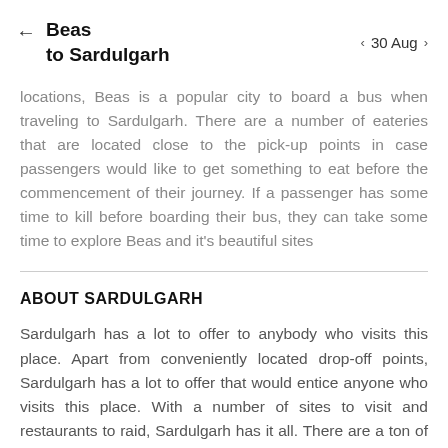← Beas to Sardulgarh   < 30 Aug >
locations, Beas is a popular city to board a bus when traveling to Sardulgarh. There are a number of eateries that are located close to the pick-up points in case passengers would like to get something to eat before the commencement of their journey. If a passenger has some time to kill before boarding their bus, they can take some time to explore Beas and it's beautiful sites
ABOUT SARDULGARH
Sardulgarh has a lot to offer to anybody who visits this place. Apart from conveniently located drop-off points, Sardulgarh has a lot to offer that would entice anyone who visits this place. With a number of sites to visit and restaurants to raid, Sardulgarh has it all. There are a ton of buses that run through Sardulgarh and this ensures that Sardulgarh is well-connected to the rest of the country.